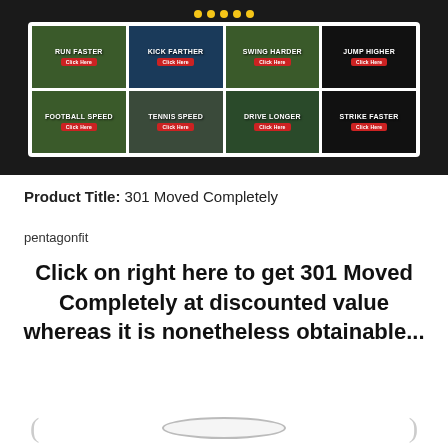[Figure (screenshot): Sports fitness website screenshot showing a dark header with a baseball player, navigation dots, and a white panel with 8 sport-category tiles: RUN FASTER, KICK FARTHER, SWING HARDER, JUMP HIGHER (top row) and FOOTBALL SPEED, TENNIS SPEED, DRIVE LONGER, STRIKE FASTER (bottom row), each with a red Click Here button.]
Product Title: 301 Moved Completely
pentagonfit
Click on right here to get 301 Moved Completely at discounted value whereas it is nonetheless obtainable...